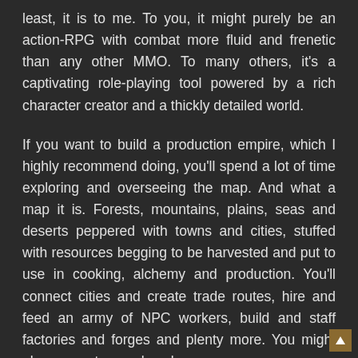least, it is to me. To you, it might purely be an action-RPG with combat more fluid and frenetic than any other MMO. To many others, it's a captivating role-playing tool powered by a rich character creator and a thickly detailed world.
If you want to build a production empire, which I highly recommend doing, you'll spend a lot of time exploring and overseeing the map. And what a map it is. Forests, mountains, plains, seas and deserts peppered with towns and cities, stuffed with resources begging to be harvested and put to use in cooking, alchemy and production. You'll connect cities and create trade routes, hire and feed an army of NPC workers, build and staff factories and forges and plenty more. You might also support your plans by